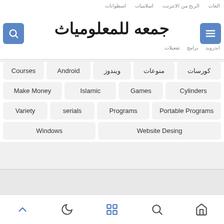اسطوانات | اسلاميات | الربح من الانترنت | العات
[Figure (screenshot): Arabic website header with logo 'جمعه للمعلومياث', search icon button (blue) on left, hamburger menu button (blue) on right]
اندرويد | برامج | تفعيلات
Courses
Android
ويندوز
منوعات
كورسات
Make Money
Islamic
Games
Cylinders
Variety
serials
Programs
Portable Programs
Windows
Website Desing
[Figure (other): Gray advertisement placeholder area]
Bottom navigation bar with icons: chevron-up, moon, grid, search, home